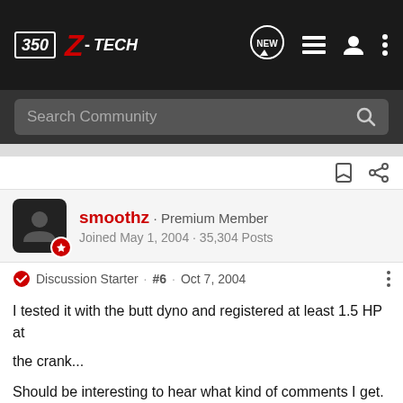350Z-TECH
Search Community
smoothz · Premium Member
Joined May 1, 2004 · 35,304 Posts
Discussion Starter · #6 · Oct 7, 2004
I tested it with the butt dyno and registered at least 1.5 HP at the crank...

Should be interesting to hear what kind of comments I get. Last night at the club meeting, a lot of peeps thought I had lowered the car. They also suggested I place a sticker on the corners stating, "Not a step."